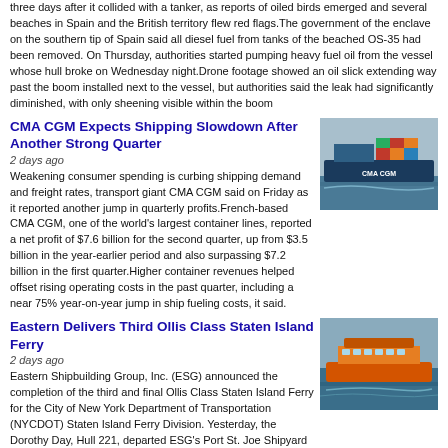three days after it collided with a tanker, as reports of oiled birds emerged and several beaches in Spain and the British territory flew red flags.The government of the enclave on the southern tip of Spain said all diesel fuel from tanks of the beached OS-35 had been removed. On Thursday, authorities started pumping heavy fuel oil from the vessel whose hull broke on Wednesday night.Drone footage showed an oil slick extending way past the boom installed next to the vessel, but authorities said the leak had significantly diminished, with only sheening visible within the boom
CMA CGM Expects Shipping Slowdown After Another Strong Quarter
2 days ago
Weakening consumer spending is curbing shipping demand and freight rates, transport giant CMA CGM said on Friday as it reported another jump in quarterly profits.French-based CMA CGM, one of the world's largest container lines, reported a net profit of $7.6 billion for the second quarter, up from $3.5 billion in the year-earlier period and also surpassing $7.2 billion in the first quarter.Higher container revenues helped offset rising operating costs in the past quarter, including a near 75% year-on-year jump in ship fueling costs, it said.
[Figure (photo): CMA CGM container ship at sea]
Eastern Delivers Third Ollis Class Staten Island Ferry
2 days ago
Eastern Shipbuilding Group, Inc. (ESG) announced the completion of the third and final Ollis Class Staten Island Ferry for the City of New York Department of Transportation (NYCDOT) Staten Island Ferry Division. Yesterday, the Dorothy Day, Hull 221, departed ESG's Port St. Joe Shipyard passenger ready with the U.S. Coast Guard Certificate of Inspection and the ABS Class Certificates in hand.“It has been an honor for our company to build the three Ollis Class Staten Island Ferries for the citizens of New York City marking a bold new chapter in the Staten Island Ferry’s 200-year-old legacy of public transportation,” said Joey D’Isernia, President of Eastern Shipbuilding Group.
[Figure (photo): Orange Staten Island Ferry at sea]
Full-electric Ferry Delivered ti SKF
2 days ago
[Figure (photo): Ferry or vessel at sea, partial view]